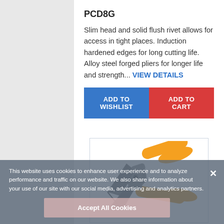PCD8G
Slim head and solid flush rivet allows for access in tight places. Induction hardened edges for long cutting life. Alloy steel forged pliers for longer life and strength... VIEW DETAILS
[Figure (screenshot): Two blue and red e-commerce buttons: ADD TO WISHLIST and ADD TO CART]
[Figure (photo): Diagonal cutting pliers with orange handles on white background]
This website uses cookies to enhance user experience and to analyze performance and traffic on our website. We also share information about your use of our site with our social media, advertising and analytics partners.
Accept All Cookies